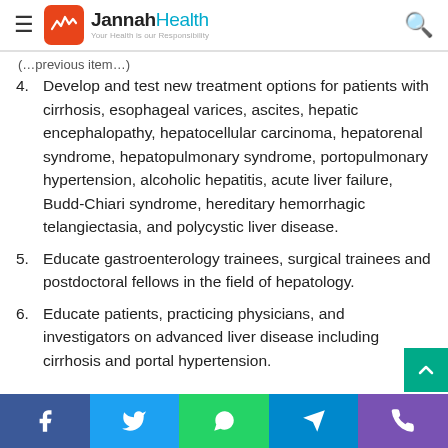Jannah Health — Your Health is our Responsibility
(previous list item, partially visible)
4. Develop and test new treatment options for patients with cirrhosis, esophageal varices, ascites, hepatic encephalopathy, hepatocellular carcinoma, hepatorenal syndrome, hepatopulmonary syndrome, portopulmonary hypertension, alcoholic hepatitis, acute liver failure, Budd-Chiari syndrome, hereditary hemorrhagic telangiectasia, and polycystic liver disease.
5. Educate gastroenterology trainees, surgical trainees and postdoctoral fellows in the field of hepatology.
6. Educate patients, practicing physicians, and investigators on advanced liver disease including cirrhosis and portal hypertension.
Social share bar: Facebook, Twitter, WhatsApp, Telegram, Phone